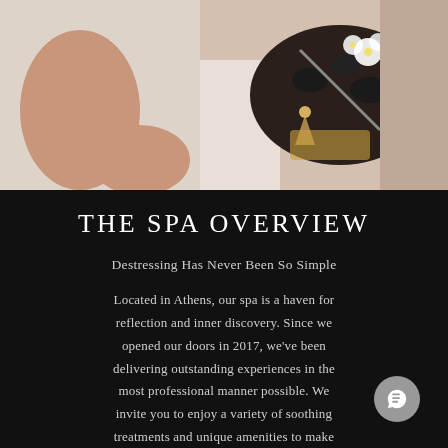[Figure (photo): Top-down spa photo showing a person lying down on white surface with a dark wooden tray containing black stones, flowers, and spa accessories alongside a candle]
THE SPA OVERVIEW
Destressing Has Never Been So Simple
Located in Athens, our spa is a haven for reflection and inner discovery. Since we opened our doors in 2017, we've been delivering outstanding experiences in the most professional manner possible. We invite you to enjoy a variety of soothing treatments and unique amenities to make each visit nurturing and rewarding. Book